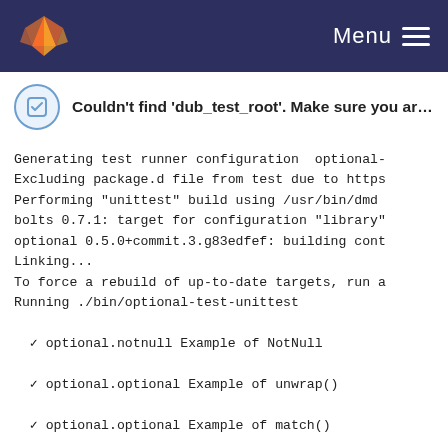Menu
Couldn't find 'dub_test_root'. Make sure you are runni...
Generating test runner configuration  optional-
Excluding package.d file from test due to https
Performing "unittest" build using /usr/bin/dmd
bolts 0.7.1: target for configuration "library"
optional 0.5.0+commit.3.g83edfef: building cont
Linking...
To force a rebuild of up-to-date targets, run a
Running ./bin/optional-test-unittest
✓ optional.notnull Example of NotNull
✓ optional.optional Example of unwrap()
✓ optional.optional Example of match()
✓ optional.optional Example of some()
✓ optional.dispatcher Should not allow constru
✓ optional.optional Example of no()
✓ optional.optional Example of orElse()
✓ tests.dispatcher Should dispatch
✓ tests.dispatcher Should allow dispatching of
✓ tests.dispatcher Should not allow copy assic